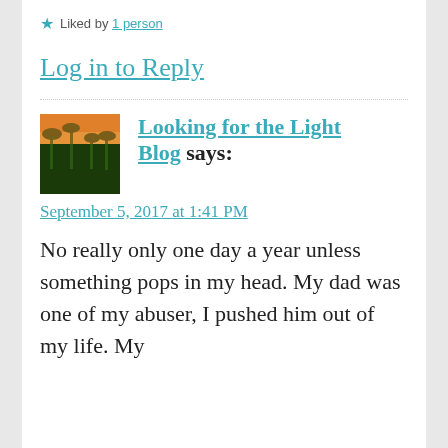★ Liked by 1 person
Log in to Reply
Looking for the Light Blog says:
September 5, 2017 at 1:41 PM
No really only one day a year unless something pops in my head. My dad was one of my abuser, I pushed him out of my life. My